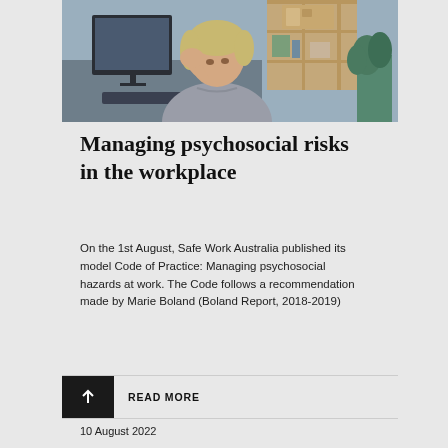[Figure (photo): Woman sitting at desk with computer, head resting on hand, appearing stressed or tired, in an office setting with shelving and plants in background]
Managing psychosocial risks in the workplace
On the 1st August, Safe Work Australia published its model Code of Practice: Managing psychosocial hazards at work. The Code follows a recommendation made by Marie Boland (Boland Report, 2018-2019)
READ MORE
10 August 2022